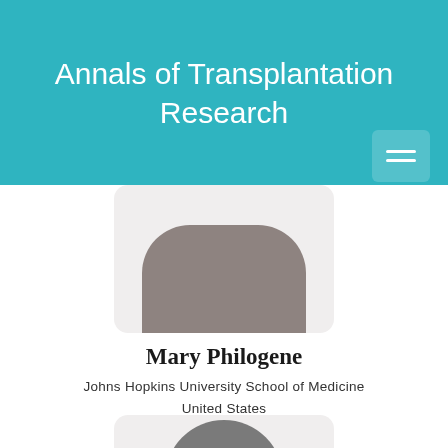Annals of Transplantation Research
[Figure (illustration): Placeholder avatar for Mary Philogene - rounded rectangle with stylized person silhouette in gray]
Mary Philogene
Johns Hopkins University School of Medicine
United States
[Figure (illustration): Placeholder avatar for second person - partial view showing gray circle head on light gray background]